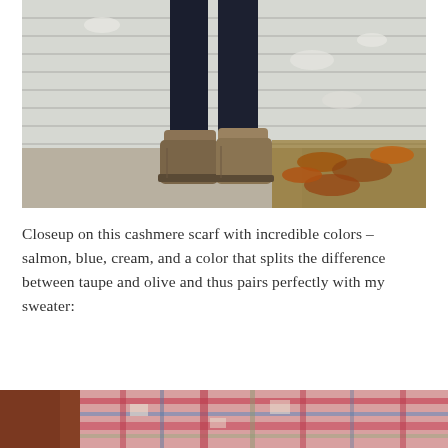[Figure (photo): Close-up photograph of someone's lower legs and feet wearing dark navy jeans and brown suede ankle boots, standing on a concrete sidewalk outside a white-painted building with peeling paint, with autumn leaves visible on the ground.]
Closeup on this cashmere scarf with incredible colors – salmon, blue, cream, and a color that splits the difference between taupe and olive and thus pairs perfectly with my sweater:
[Figure (photo): Close-up photograph of a person's neck and shoulder area wearing a plaid cashmere scarf in salmon/pink, blue, cream, and taupe/olive colors, with reddish-brown hair visible on the left side.]